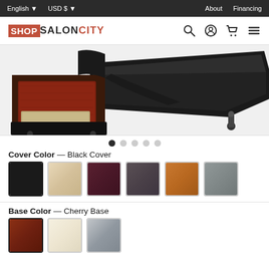English  USD $  About  Financing
[Figure (logo): ShopSalonCity logo with search, account, cart and menu icons]
[Figure (photo): Salon pedicure chair base and footrest plate, close-up product shot showing dark cherry wood base and black upholstered footrest with adjustable hardware]
Cover Color — Black Cover
[Figure (other): Six cover color swatches: Black (selected), Cream, Dark Red, Dark Grey, Caramel, Grey]
Base Color — Cherry Base
[Figure (other): Three base color swatches: Cherry (selected), Ivory, Silver]